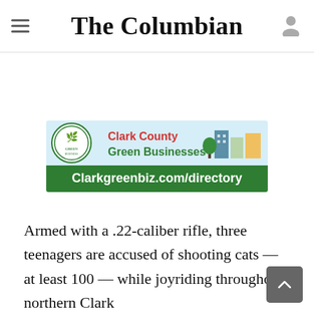The Columbian
[Figure (illustration): Clark County Green Businesses advertisement banner with logo, illustrated buildings and text 'Clarkgreenbiz.com/directory']
Armed with a .22-caliber rifle, three teenagers are accused of shooting cats — at least 100 — while joyriding throughout northern Clark